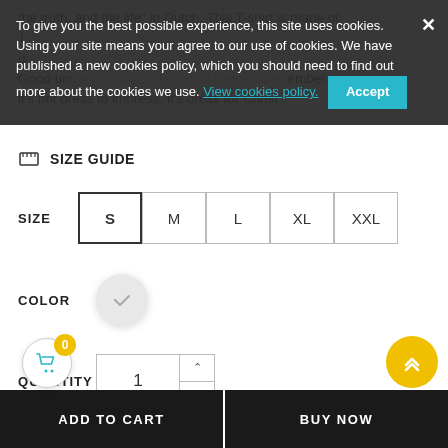the truth, and the life" in Dutch. This T-shirt is made of 100% premium cotton and features... d...dress for success? Remember, it's not dress to impress, it's dress for Christ.
To give you the best possible experience, this site uses cookies. Using your site means your agree to our use of cookies. We have published a new cookies policy, which you should need to find out more about the cookies we use. View cookies policy. Accept
SIZE GUIDE
SIZE  S  M  L  XL  XXL
COLOR
QUANTITY  1
ADD TO CART
BUY NOW